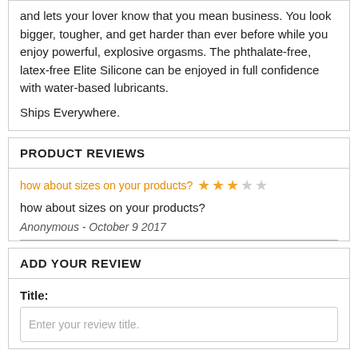and lets your lover know that you mean business. You look bigger, tougher, and get harder than ever before while you enjoy powerful, explosive orgasms. The phthalate-free, latex-free Elite Silicone can be enjoyed in full confidence with water-based lubricants.

Ships Everywhere.
PRODUCT REVIEWS
how about sizes on your products?
how about sizes on your products?
Anonymous - October 9 2017
ADD YOUR REVIEW
Title:
Enter your review title.